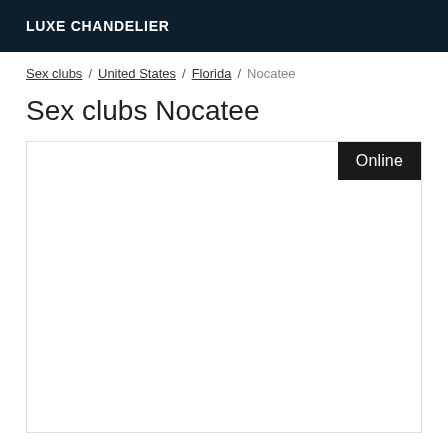LUXE CHANDELIER
Sex clubs / United States / Florida / Nocatee
Sex clubs Nocatee
[Figure (other): White card/listing box with an 'Online' badge in the top-right corner, content area is blank/empty]